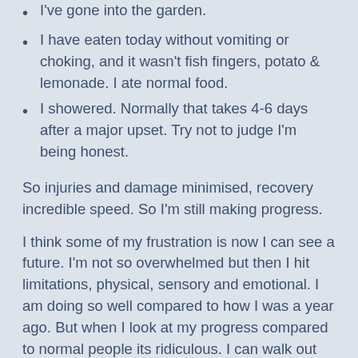I've gone into the garden.
I have eaten today without vomiting or choking, and it wasn't fish fingers, potato & lemonade.  I ate normal food.
I showered.  Normally that takes 4-6 days after a major upset.  Try not to judge I'm being honest.
So injuries and damage minimised, recovery incredible speed.  So I'm still making progress.
I think some of my frustration is now I can see a future.  I'm not so overwhelmed but then I hit limitations, physical, sensory and emotional.  I am doing so well compared to how I was a year ago.  But when I look at my progress compared to normal people its ridiculous.  I can walk out my door with my husband at night & stay in my garden for 5 minutes, big deal.  But I haven't been